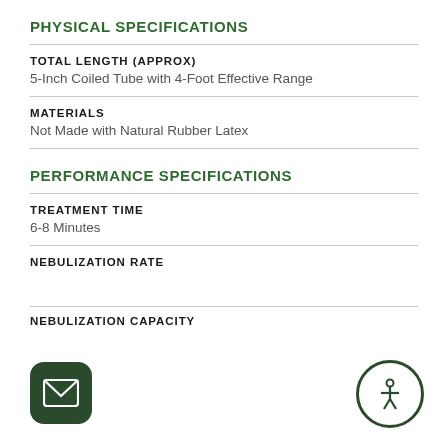PHYSICAL SPECIFICATIONS
TOTAL LENGTH (APPROX)
5-Inch Coiled Tube with 4-Foot Effective Range
MATERIALS
Not Made with Natural Rubber Latex
PERFORMANCE SPECIFICATIONS
TREATMENT TIME
6-8 Minutes
NEBULIZATION RATE
NEBULIZATION CAPACITY